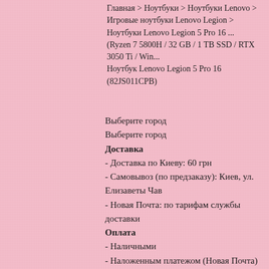Главная > Ноутбуки > Ноутбуки Lenovo > Игровые ноутбуки Lenovo Legion > Ноутбуки Lenovo Legion 5 Pro 16 ... (Ryzen 7 5800H / 32 GB / 1 TB SSD / RTX 3050 Ti / Win... Ноутбук Lenovo Legion 5 Pro 16 (82JS011CPB)
Выберите город
Выберите город
Доставка
- Доставка по Киеву: 60 грн
- Самовывоз (по предзаказу): Киев, ул. Елизаветы Чав
- Новая Почта: по тарифам службы доставки
Оплата
- Наличными
- Наложенным платежом (Новая Почта)
- Приват 24
- Безналичный рассчет
Обмен / возврат
Возврат или обмен товара в течение 14 дней.
Гарантия
От 3 до 36 мес. Уточните у оператора.
52 585 грн.
Купить
сравнить